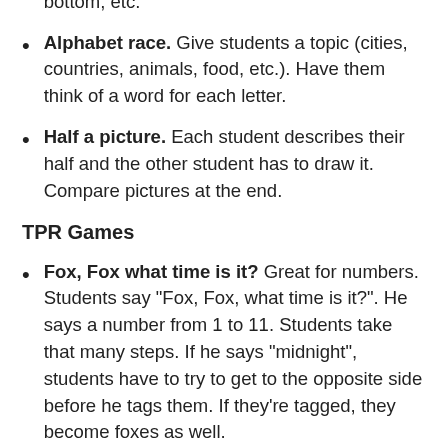good for directions, such as left, right, top, bottom, etc.
Alphabet race. Give students a topic (cities, countries, animals, food, etc.). Have them think of a word for each letter.
Half a picture. Each student describes their half and the other student has to draw it. Compare pictures at the end.
TPR Games
Fox, Fox what time is it? Great for numbers. Students say "Fox, Fox, what time is it?". He says a number from 1 to 11. Students take that many steps. If he says "midnight", students have to try to get to the opposite side before he tags them. If they're tagged, they become foxes as well.
Run and touch. Put pictures around the room. Call out the word and have students run and touch the picture. To make it more difficult, put up more than one picture of the same item in different places.